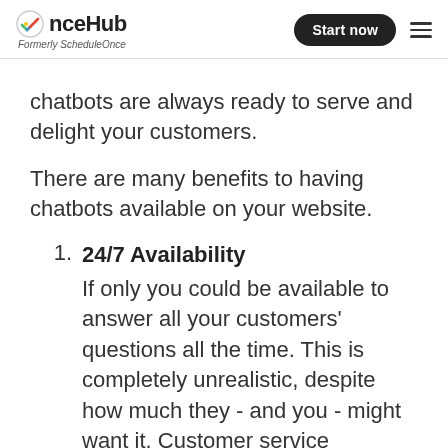OnceHub Formerly ScheduleOnce | Start now
chatbots are always ready to serve and delight your customers.
There are many benefits to having chatbots available on your website.
24/7 Availability
If only you could be available to answer all your customers’ questions all the time. This is completely unrealistic, despite how much they - and you - might want it. Customer service